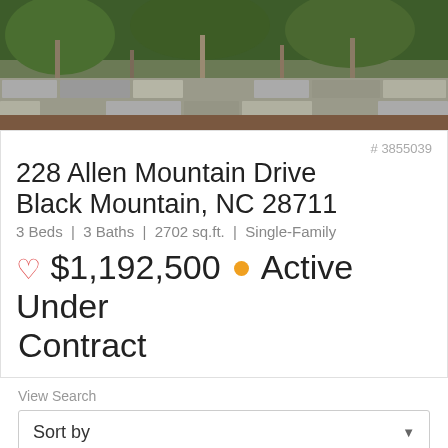[Figure (photo): Outdoor photo showing stone retaining wall with trees and landscaping]
# 3855039
228 Allen Mountain Drive
Black Mountain, NC 28711
3 Beds | 3 Baths | 2702 sq.ft. | Single-Family
$1,192,500 • Active Under Contract
View Search
Sort by
151 Properties | Page 1 of 17
1 | 2 | 3 | 4 | 5 | 6 | 7 | 8 | 9 | 10 | > | >>